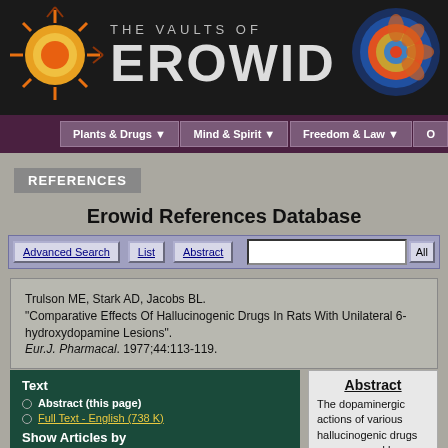THE VAULTS OF EROWID
Erowid References Database
REFERENCES
Trulson ME, Stark AD, Jacobs BL. "Comparative Effects Of Hallucinogenic Drugs In Rats With Unilateral 6-hydroxydopamine Lesions". Eur.J. Pharmacal. 1977;44:113-119.
Text
Abstract (this page)
Full Text - English (738 K)
Show Articles by
Trulson ME
Stark AD
Abstract
The dopaminergic actions of various hallucinogenic drugs were assesed by